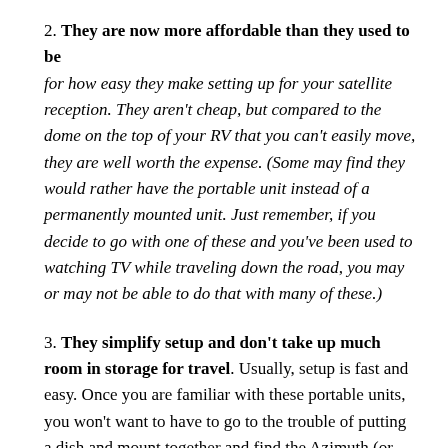2. They are now more affordable than they used to be for how easy they make setting up for your satellite reception. They aren't cheap, but compared to the dome on the top of your RV that you can't easily move, they are well worth the expense. (Some may find they would rather have the portable unit instead of a permanently mounted unit. Just remember, if you decide to go with one of these and you've been used to watching TV while traveling down the road, you may or may not be able to do that with many of these.)
3. They simplify setup and don't take up much room in storage for travel. Usually, setup is fast and easy. Once you are familiar with these portable units, you won't want to have to go to the trouble of putting a dish and mount together and find the Azimuth (or compass heading) and elevation every time you stop. Instead, with an automated portable satellite dish, you just have